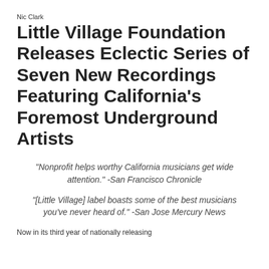Nic Clark
Little Village Foundation Releases Eclectic Series of Seven New Recordings Featuring California’s Foremost Underground Artists
“Nonprofit helps worthy California musicians get wide attention.” -San Francisco Chronicle
“[Little Village] label boasts some of the best musicians you’ve never heard of.” -San Jose Mercury News
Now in its third year of nationally releasing